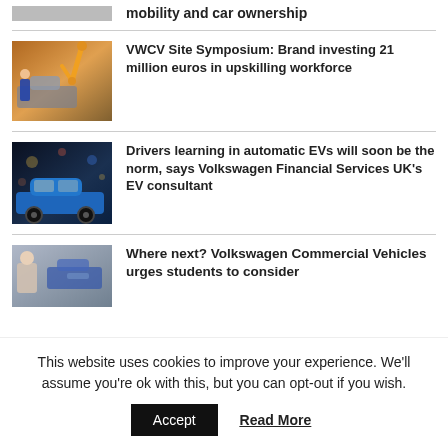[Figure (photo): Partial image of a car or vehicle at top, cropped]
mobility and car ownership
[Figure (photo): Worker in blue shirt assembling vehicle body at factory with orange robotic arms]
VWCV Site Symposium: Brand investing 21 million euros in upskilling workforce
[Figure (photo): Blue Volkswagen hatchback EV car at night with city lights in background]
Drivers learning in automatic EVs will soon be the norm, says Volkswagen Financial Services UK's EV consultant
[Figure (photo): Person in showroom or parking area with Volkswagen commercial vehicles in background]
Where next? Volkswagen Commercial Vehicles urges students to consider
This website uses cookies to improve your experience. We'll assume you're ok with this, but you can opt-out if you wish.
Accept
Read More